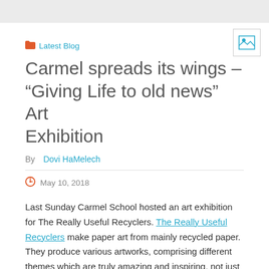Latest Blog
Carmel spreads its wings – “Giving Life to old news” Art Exhibition
By Dovi HaMelech
May 10, 2018
Last Sunday Carmel School hosted an art exhibition for The Really Useful Recyclers. The Really Useful Recyclers make paper art from mainly recycled paper. They produce various artworks, comprising different themes which are truly amazing and inspiring, not just